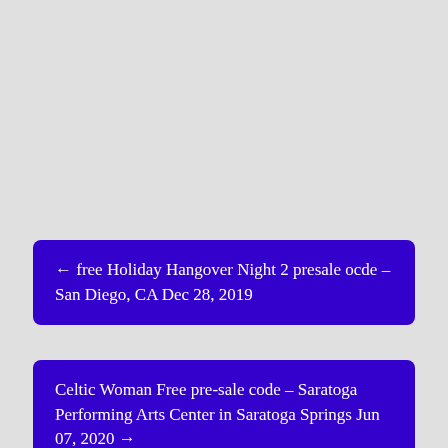← free Holiday Hangover Night 2 presale ocde – San Diego, CA Dec 28, 2019
Celtic Woman Free pre-sale code – Saratoga Performing Arts Center in Saratoga Springs Jun 07, 2020 →